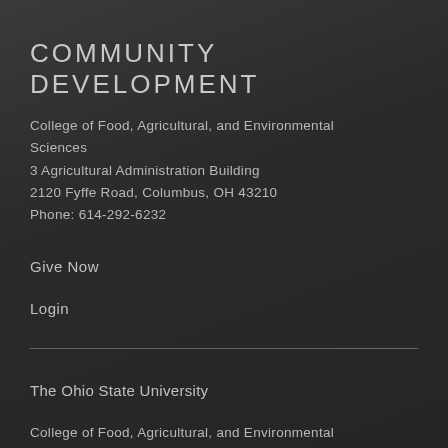COMMUNITY DEVELOPMENT
College of Food, Agricultural, and Environmental Sciences
3 Agricultural Administration Building
2120 Fyffe Road, Columbus, OH 43210
Phone: 614-292-6232
Give Now
Login
The Ohio State University
College of Food, Agricultural, and Environmental